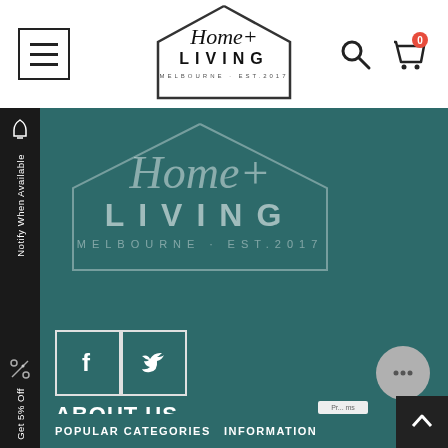[Figure (logo): Home + Living Melbourne Est. 2017 logo in house-shaped outline, black on white]
[Figure (logo): Home + Living Melbourne Est. 2017 logo watermark on dark teal background]
[Figure (illustration): Facebook and Twitter social media icon boxes on dark teal background]
ABOUT US
Home & Living is an Australian based and owned family run business. We strive to provide our customers with quality furniture, home ware, electronics & more at everyday low prices and free delivery straight to your door for most of Australia. Learn more about us
POPULAR CATEGORIES   INFORMATION